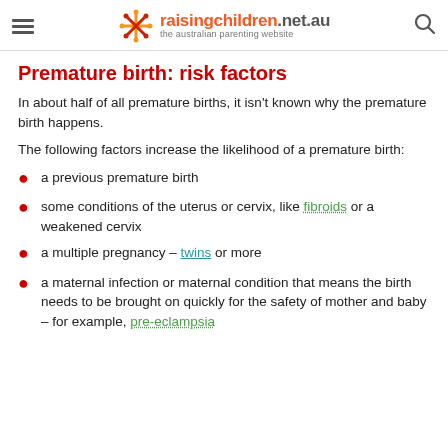raisingchildren.net.au — the australian parenting website
Premature birth: risk factors
In about half of all premature births, it isn't known why the premature birth happens.
The following factors increase the likelihood of a premature birth:
a previous premature birth
some conditions of the uterus or cervix, like fibroids or a weakened cervix
a multiple pregnancy – twins or more
a maternal infection or maternal condition that means the birth needs to be brought on quickly for the safety of mother and baby – for example, pre-eclampsia